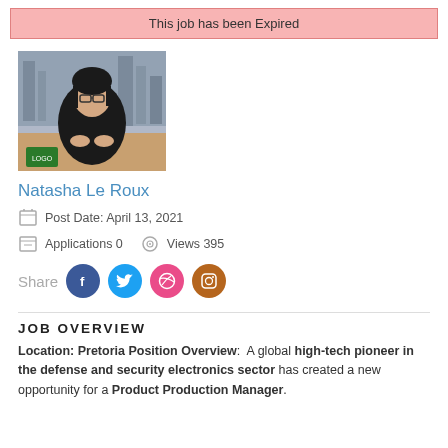This job has been Expired
[Figure (photo): Profile photo of a woman with glasses sitting at a desk in a professional setting, with a company logo in the lower left corner]
Natasha Le Roux
Post Date: April 13, 2021
Applications 0   Views 395
Share (social media icons: Facebook, Twitter, Dribbble, Instagram)
JOB OVERVIEW
Location: Pretoria Position Overview:  A global high-tech pioneer in the defense and security electronics sector has created a new opportunity for a Product Production Manager.